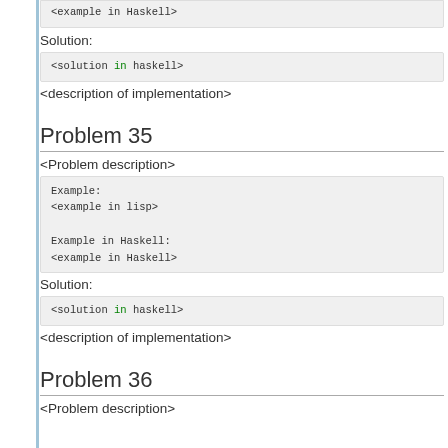<example in Haskell>
Solution:
<solution in haskell>
<description of implementation>
Problem 35
<Problem description>
Example:
<example in lisp>

Example in Haskell:
<example in Haskell>
Solution:
<solution in haskell>
<description of implementation>
Problem 36
<Problem description>